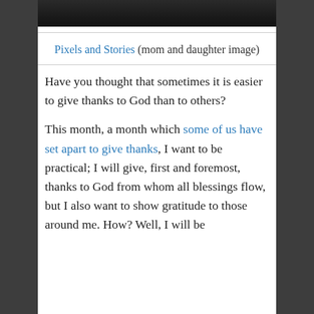[Figure (photo): Top portion of a photo showing a dark scene, likely a mom and daughter image, partially cropped at the top of the page.]
Pixels and Stories (mom and daughter image)
Have you thought that sometimes it is easier to give thanks to God than to others?
This month, a month which some of us have set apart to give thanks, I want to be practical; I will give, first and foremost, thanks to God from whom all blessings flow, but I also want to show gratitude to those around me. How? Well, I will be